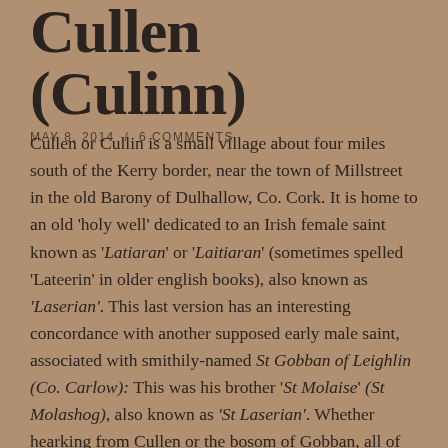Cullen (Culinn)
MAY 8, 2014 / 6 COMMENTS
Cullen or Cullin is a small village about four miles south of the Kerry border, near the town of Millstreet in the old Barony of Dulhallow, Co. Cork. It is home to an old 'holy well' dedicated to an Irish female saint known as '‘Latiaran’ or ‘Laitiaran’ (sometimes spelled ‘Lateerin’ in older english books), also known as ‘Laserian’. This last version has an interesting concordance with another supposed early male saint, associated with smithily-named St Gobban of Leighlin (Co. Carlow): This was his brother ‘St Molaise’ (St Molashog), also known as ‘St Laserian’. Whether hearking from Cullen or the bosom of Gobban, all of these saints have a curious set of accretions to do with blacksmiths. Latiaran herself is